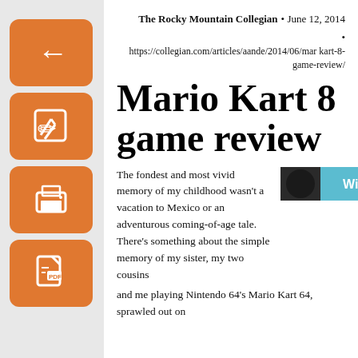The Rocky Mountain Collegian • June 12, 2014
https://collegian.com/articles/aande/2014/06/markart-8-game-review/
Mario Kart 8 game review
[Figure (screenshot): A partial screenshot showing a Wii U game image with 'Wii U' branding visible in orange/red bar]
The fondest and most vivid memory of my childhood wasn't a vacation to Mexico or an adventurous coming-of-age tale. There's something about the simple memory of my sister, my two cousins and me playing Nintendo 64's Mario Kart 64, sprawled out on